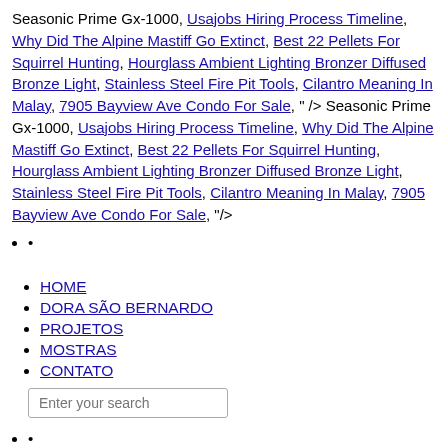Seasonic Prime Gx-1000, Usajobs Hiring Process Timeline, Why Did The Alpine Mastiff Go Extinct, Best 22 Pellets For Squirrel Hunting, Hourglass Ambient Lighting Bronzer Diffused Bronze Light, Stainless Steel Fire Pit Tools, Cilantro Meaning In Malay, 7905 Bayview Ave Condo For Sale, " /> Seasonic Prime Gx-1000, Usajobs Hiring Process Timeline, Why Did The Alpine Mastiff Go Extinct, Best 22 Pellets For Squirrel Hunting, Hourglass Ambient Lighting Bronzer Diffused Bronze Light, Stainless Steel Fire Pit Tools, Cilantro Meaning In Malay, 7905 Bayview Ave Condo For Sale, "/>
HOME
DORA SÃO BERNARDO
PROJETOS
MOSTRAS
CONTATO
Enter your search